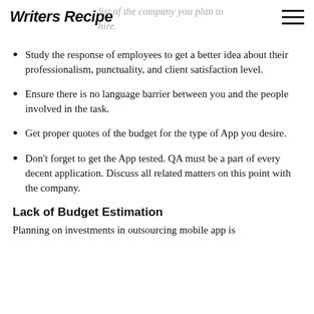Writers Recipe
Study the response of employees to get a better idea about their professionalism, punctuality, and client satisfaction level.
Ensure there is no language barrier between you and the people involved in the task.
Get proper quotes of the budget for the type of App you desire.
Don't forget to get the App tested. QA must be a part of every decent application. Discuss all related matters on this point with the company.
Lack of Budget Estimation
Planning on investments in outsourcing mobile app is